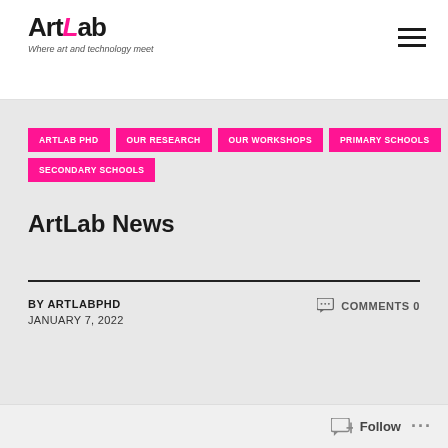[Figure (logo): ArtLab logo with stylized text 'ArtLab' where L is pink/magenta italic, and tagline 'Where art and technology meet']
ARTLAB PHD
OUR RESEARCH
OUR WORKSHOPS
PRIMARY SCHOOLS
SECONDARY SCHOOLS
ArtLab News
BY ARTLABPHD
JANUARY 7, 2022
COMMENTS 0
Follow ...